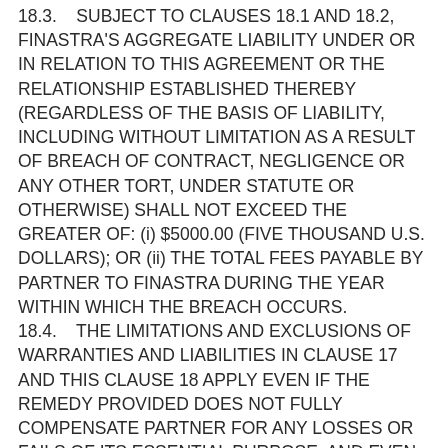18.3.    SUBJECT TO CLAUSES 18.1 AND 18.2, FINASTRA'S AGGREGATE LIABILITY UNDER OR IN RELATION TO THIS AGREEMENT OR THE RELATIONSHIP ESTABLISHED THEREBY (REGARDLESS OF THE BASIS OF LIABILITY, INCLUDING WITHOUT LIMITATION AS A RESULT OF BREACH OF CONTRACT, NEGLIGENCE OR ANY OTHER TORT, UNDER STATUTE OR OTHERWISE) SHALL NOT EXCEED THE GREATER OF: (i) $5000.00 (FIVE THOUSAND U.S. DOLLARS); OR (ii) THE TOTAL FEES PAYABLE BY PARTNER TO FINASTRA DURING THE YEAR WITHIN WHICH THE BREACH OCCURS. 18.4.    THE LIMITATIONS AND EXCLUSIONS OF WARRANTIES AND LIABILITIES IN CLAUSE 17 AND THIS CLAUSE 18 APPLY EVEN IF THE REMEDY PROVIDED DOES NOT FULLY COMPENSATE PARTNER FOR ANY LOSSES OR FAILS OF ITS ESSENTIAL PURPOSE, AND EVEN IF FINASTRA KNEW OR SHOULD